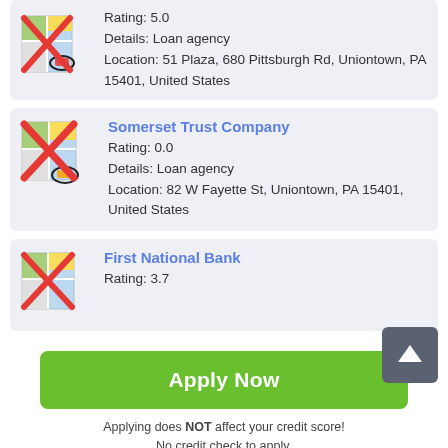[Figure (screenshot): Map pin icon with red X overlay, first listing card]
Rating: 5.0
Details: Loan agency
Location: 51 Plaza, 680 Pittsburgh Rd, Uniontown, PA 15401, United States
[Figure (screenshot): Map pin icon with red X overlay, Somerset Trust Company card]
Somerset Trust Company
Rating: 0.0
Details: Loan agency
Location: 82 W Fayette St, Uniontown, PA 15401, United States
[Figure (screenshot): Map pin icon with red X overlay, First National Bank card]
First National Bank
Rating: 3.7
Apply Now
Applying does NOT affect your credit score!
No credit check to apply.